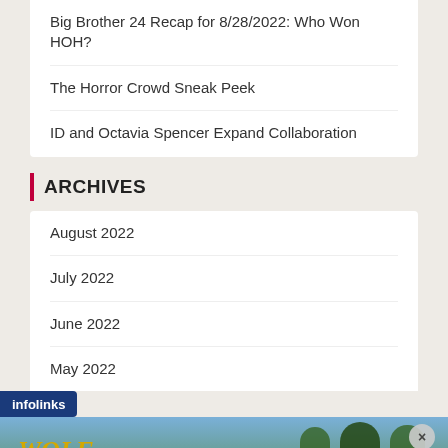Big Brother 24 Recap for 8/28/2022: Who Won HOH?
The Horror Crowd Sneak Peek
ID and Octavia Spencer Expand Collaboration
ARCHIVES
August 2022
July 2022
June 2022
May 2022
[Figure (infographic): infolinks label bar in dark blue]
[Figure (infographic): Wolf Game advertisement banner with wolves in a meadow and text THE HUNT IS ON!]